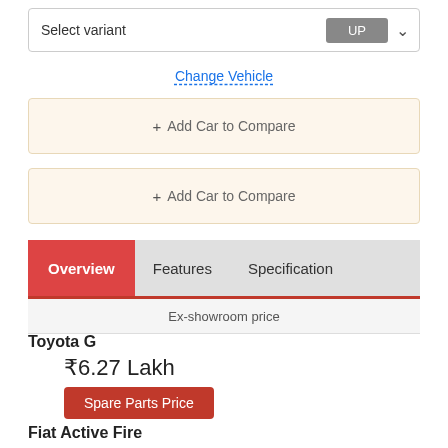Select variant UP
Change Vehicle
+ Add Car to Compare
+ Add Car to Compare
Overview  Features  Specification
Ex-showroom price
Toyota G
₹6.27 Lakh
Spare Parts Price
Fiat Active Fire